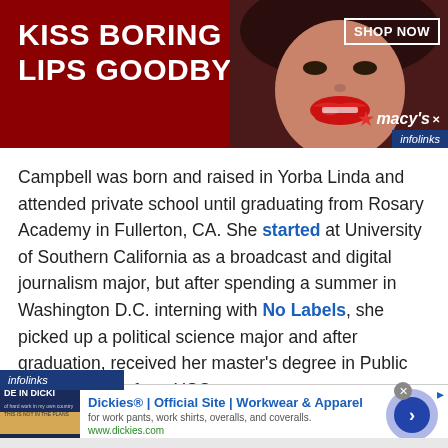[Figure (screenshot): Macy's advertisement banner with 'KISS BORING LIPS GOODBYE' text on dark red background with woman's face and red lips. SHOP NOW button and Macy's logo visible. Infolinks badge in corner.]
Campbell was born and raised in Yorba Linda and attended private school until graduating from Rosary Academy in Fullerton, CA. She started at University of Southern California as a broadcast and digital journalism major, but after spending a summer in Washington D.C. interning with No Labels, she picked up a political science major and after graduation, received her master's degree in Public Administration from USC.
[Figure (screenshot): Infolinks advertisement bar with Dickies Official Site ad: 'Dickies® | Official Site | Workwear & Apparel' with subtitle 'for work pants, work shirts, overalls, and coveralls.' and url www.dickies.com. Navigation arrow on right side.]